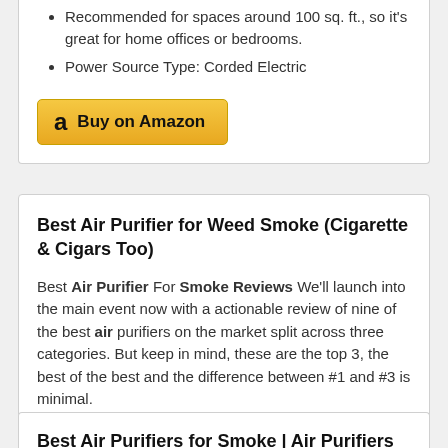Recommended for spaces around 100 sq. ft., so it's great for home offices or bedrooms.
Power Source Type: Corded Electric
[Figure (other): Amazon buy button with Amazon logo and text 'Buy on Amazon']
Best Air Purifier for Weed Smoke (Cigarette & Cigars Too)
Best Air Purifier For Smoke Reviews We'll launch into the main event now with a actionable review of nine of the best air purifiers on the market split across three categories. But keep in mind, these are the top 3, the best of the best and the difference between #1 and #3 is minimal.
Best Air Purifiers for Smoke | Air Purifiers